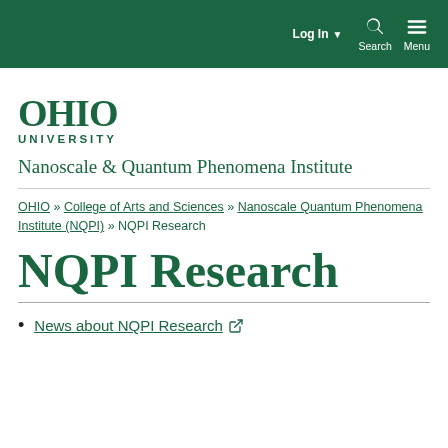Log In   Search   Menu
[Figure (logo): Ohio University wordmark logo in green]
Nanoscale & Quantum Phenomena Institute
OHIO » College of Arts and Sciences » Nanoscale Quantum Phenomena Institute (NQPI) » NQPI Research
NQPI Research
News about NQPI Research